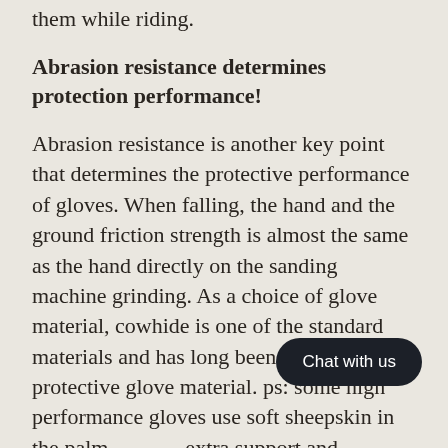them while riding.
Abrasion resistance determines protection performance!
Abrasion resistance is another key point that determines the protective performance of gloves. When falling, the hand and the ground friction strength is almost the same as the hand directly on the sanding machine grinding. As a choice of glove material, cowhide is one of the standard materials and has long been used as a protective glove material. ps: some high performance gloves use soft sheepskin in the palm area for extra support and comfort, or kangaroo leather to increase more resistance. (Anti…